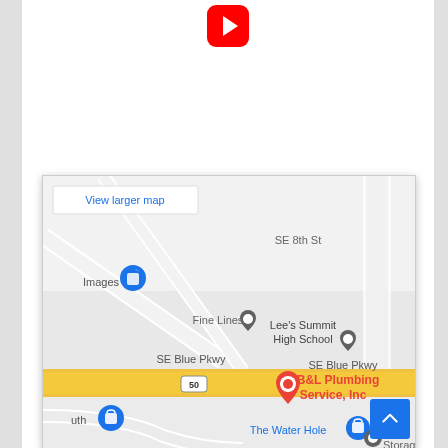[Figure (logo): YouTube logo icon — red rounded square with white play button]
[Figure (map): Google Maps screenshot showing SE Blue Pkwy area with B&L Plumbing Service, Inc marker in Lee's Summit. Shows SE 8th St, SE Blue Pkwy (US-50 highway highlighted in yellow), Fine Lines, Lee's Summit High School, The Water Hole, and StorageMa labels. Blue shopping bag pins visible. 'View larger map' link in top-left corner.]